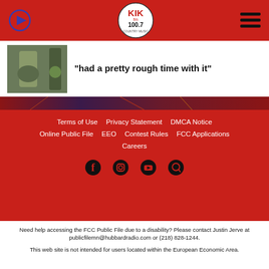[Figure (screenshot): KIK fm 100.7 radio station website header with red background, play button icon on left, KIK fm logo in center, hamburger menu on right]
"had a pretty rough time with it"
[Figure (photo): Fireworks/concert image strip]
Terms of Use
Privacy Statement
DMCA Notice
Online Public File
EEO
Contest Rules
FCC Applications
Careers
[Figure (other): Social media icons: Facebook, Instagram, YouTube, and another icon]
Need help accessing the FCC Public File due to a disability? Please contact Justin Jerve at publicfilemn@hubbardradio.com or (218) 828-1244.
This web site is not intended for users located within the European Economic Area.